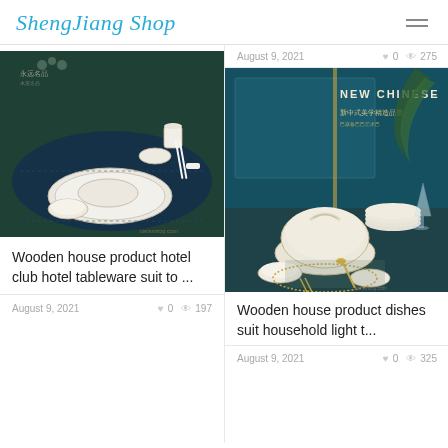ShengJiang Shop
August 9, 2021   ♥ 0   👁 275
[Figure (photo): White ceramic tableware set with bowls, plates, cup and chopsticks on a dark teal/green table mat]
Wooden house product hotel club hotel tableware suit to ...
August 9, 2021   ♥ 0   👁 197
[Figure (photo): White ceramic dishes suit with gold accents arranged on a teal table, with text NEW CHINESE and Chinese characters in background]
Wooden house product dishes suit household light t...
August 9, 2021   ♥ 0   👁 325